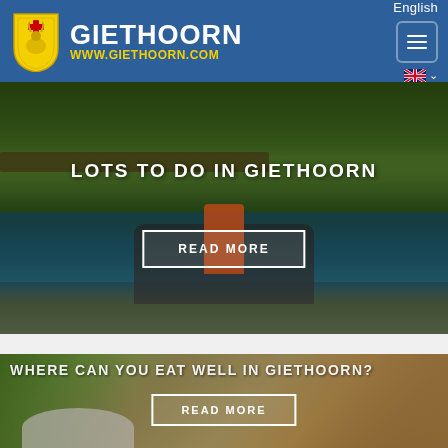[Figure (logo): Giethoorn website header with shield logo, site name GIETHOORN and URL www.giethoorn.com on blue background, hamburger menu button and English language selector]
[Figure (photo): Canal scene in Giethoorn showing person standing in a boat viewed from behind, with child seated, water canal, green trees and wooden fence in background. White text overlay: LOTS TO DO IN GIETHOORN. White bordered button: READ MORE]
[Figure (photo): Outdoor dining/restaurant area in Giethoorn showing umbrellas and thatched roof building. White text overlay: WHERE CAN YOU EAT WELL IN GIETHOORN? White bordered button: READ MORE]